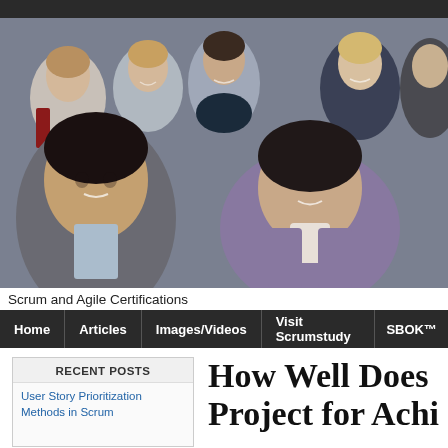[Figure (photo): Group of business professionals in formal attire smiling, posed together — stock photo for Scrum and Agile Certifications website banner]
Scrum and Agile Certifications
Home | Articles | Images/Videos | Visit Scrumstudy | SBOK™
RECENT POSTS
User Story Prioritization Methods in Scrum
How Well Does Project for Achi